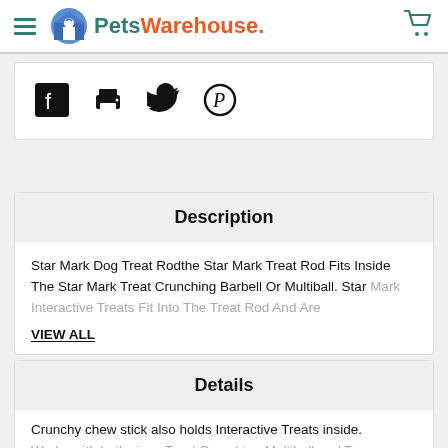Pets Warehouse
[Figure (other): Social share icons: Facebook, Print, Twitter, Pinterest]
Description
Star Mark Dog Treat Rodthe Star Mark Treat Rod Fits Inside The Star Mark Treat Crunching Barbell Or Multiball. Star Mark Interactive Treats Fit Into The Treat Rod And Are
VIEW ALL
Details
Crunchy chew stick also holds Interactive Treats inside. Works with both sizes Treat Crunching Multiball and Tr...